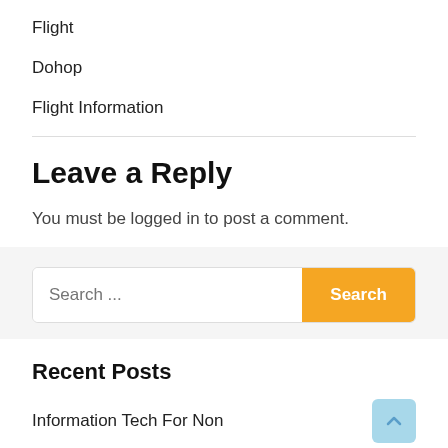Flight
Dohop
Flight Information
Leave a Reply
You must be logged in to post a comment.
Search ...
Recent Posts
Information Tech For Non